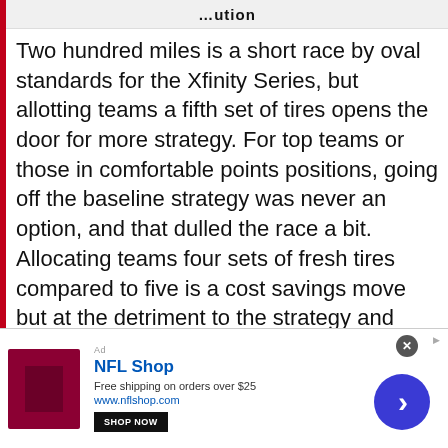...ution
Two hundred miles is a short race by oval standards for the Xfinity Series, but allotting teams a fifth set of tires opens the door for more strategy. For top teams or those in comfortable points positions, going off the baseline strategy was never an option, and that dulled the race a bit. Allocating teams four sets of fresh tires compared to five is a cost savings move but at the detriment to the strategy and entertainment of the race. Another race that will be 200 miles in length will be the season finale race at Phoenix Raceway. That race will need to have five sets of tires for teams, not four.
[Figure (other): Advertisement banner for NFL Shop. Shows NFL Shop logo with red background, text: Free shipping on orders over $25, www.nflshop.com, SHOP NOW button, close button, and navigation arrow.]